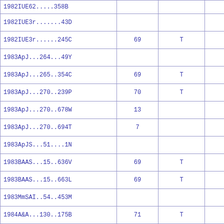| 1982IUE62.....358B |  |  |  |
| 1982IUE3r.......43D |  |  |  |
| 1982IUE3r......245C | 69 | T |  |
| 1983ApJ...264...49Y |  |  |  |
| 1983ApJ...265..354C | 69 | T |  |
| 1983ApJ...270..239P | 70 | T |  |
| 1983ApJ...270..678W | 13 |  |  |
| 1983ApJ...270..694T | 7 |  |  |
| 1983ApJS...51....1N |  |  |  |
| 1983BAAS...15..636V | 69 | T |  |
| 1983BAAS...15..663L | 69 | T |  |
| 1983MmSAI..54..453M |  |  |  |
| 1984A&A...130..175B | 71 | T |  |
| 1984A&A...138..415A |  |  |  |
| 1984A&AS...57..385R |  |  |  |
| 1984A&AS...58..601P |  |  |  |